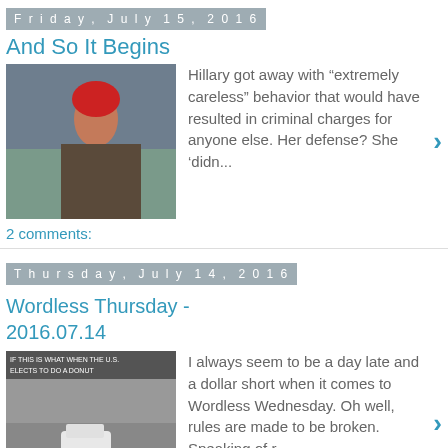Friday, July 15, 2016
And So It Begins
[Figure (photo): Woman with red hair sitting on pavement]
Hillary got away with “extremely careless” behavior that would have resulted in criminal charges for anyone else. Her defense? She ‘didn...
2 comments:
Thursday, July 14, 2016
Wordless Thursday - 2016.07.14
[Figure (photo): Car drifting on a road with text overlay]
I always seem to be a day late and a dollar short when it comes to Wordless Wednesday. Oh well, rules are made to be broken. Speaking of r...
4 comments:
Wednesday, July 13, 2016
A Chip Off The Old Block